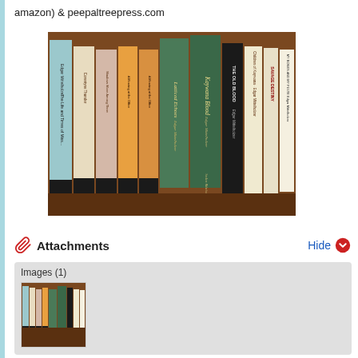amazon) & peepaltreepress.com
[Figure (photo): Photo of book spines on a shelf, showing multiple books including titles like 'Kaywana Blood', 'Latticed Echoes', 'THE OLD BLOOD', 'Children of Kaywana', 'Savage Destiny', 'My Bones and My Flute', by Edgar Mittelholzer and published by Secker & Warburg]
Attachments
Images (1)
[Figure (photo): Thumbnail of the same bookshelf photo]